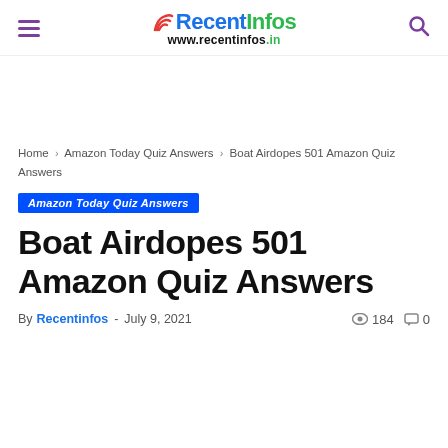RecentInfos www.recentinfos.in
Home › Amazon Today Quiz Answers › Boat Airdopes 501 Amazon Quiz Answers
Amazon Today Quiz Answers
Boat Airdopes 501 Amazon Quiz Answers
By Recentinfos - July 9, 2021  184  0